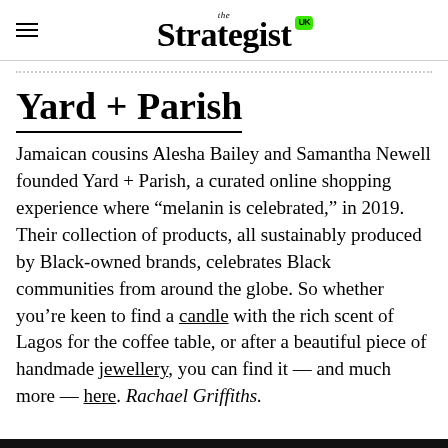the Strategist UK
Yard + Parish
Jamaican cousins Alesha Bailey and Samantha Newell founded Yard + Parish, a curated online shopping experience where “melanin is celebrated,” in 2019. Their collection of products, all sustainably produced by Black-owned brands, celebrates Black communities from around the globe. So whether you’re keen to find a candle with the rich scent of Lagos for the coffee table, or after a beautiful piece of handmade jewellery, you can find it — and much more — here. Rachael Griffiths.